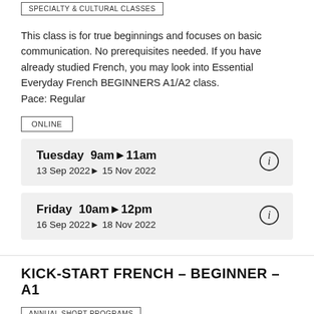SPECIALTY & CULTURAL CLASSES
This class is for true beginnings and focuses on basic communication. No prerequisites needed. If you have already studied French, you may look into Essential Everyday French BEGINNERS A1/A2 class.
Pace: Regular
ONLINE
Tuesday  9am▶11am
13 Sep 2022▶15 Nov 2022
Friday  10am▶12pm
16 Sep 2022▶18 Nov 2022
KICK-START FRENCH – BEGINNER – A1
ANNUAL SHORT PROGRAMS